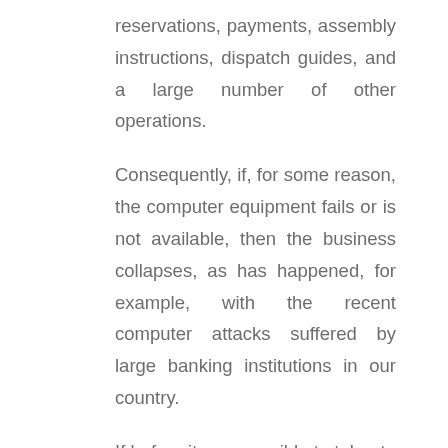reservations, payments, assembly instructions, dispatch guides, and a large number of other operations.
Consequently, if, for some reason, the computer equipment fails or is not available, then the business collapses, as has happened, for example, with the recent computer attacks suffered by large banking institutions in our country.
If before it was possible to tolerate that computers were not available for a few hours, today, with the enormous volume of operations hosted on servers and in the cloud, interrupting a single critical system in this chain (purchase